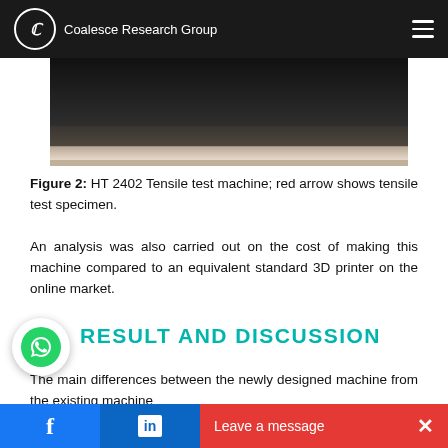Coalesce Research Group
[Figure (photo): Bottom portion of HT 2402 Tensile test machine, showing a dark mechanical apparatus with a light-colored base/platen strip at the bottom.]
Figure 2: HT 2402 Tensile test machine; red arrow shows tensile test specimen.
An analysis was also carried out on the cost of making this machine compared to an equivalent standard 3D printer on the online market.
RESULT AND DISCUSSION
The main differences between the newly designed machine from the existing machine
Facebook | LinkedIn | Leave a message